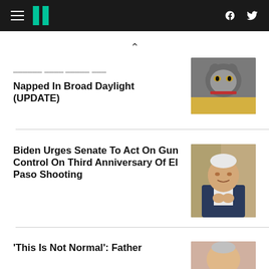HuffPost navigation with hamburger menu, logo, Facebook and Twitter icons
^ (chevron/scroll up)
...missing After Being Cat Napped In Broad Daylight (UPDATE)
[Figure (photo): Gray cat with red collar being held]
Biden Urges Senate To Act On Gun Control On Third Anniversary Of El Paso Shooting
[Figure (photo): President Biden speaking with hands clasped, American flag in background]
'This Is Not Normal': Father